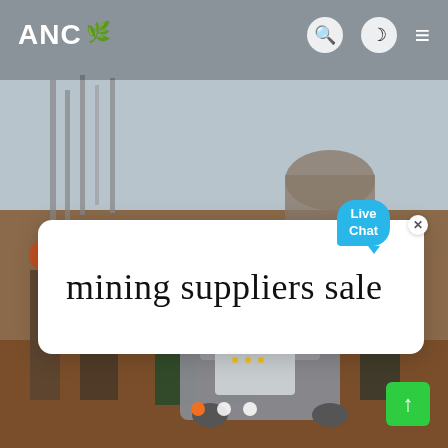[Figure (photo): Website screenshot showing construction/mining workers standing around mining equipment on a dirt field with steel rebar structures in background. Navigation bar at top with ANC logo, search, dark mode, and hamburger menu icons. White search/content box overlaid in middle with text 'mining suppliers sale' and a Live Chat bubble. Carousel dots at bottom, green scroll-to-top button bottom right.]
ANC
mining suppliers sale